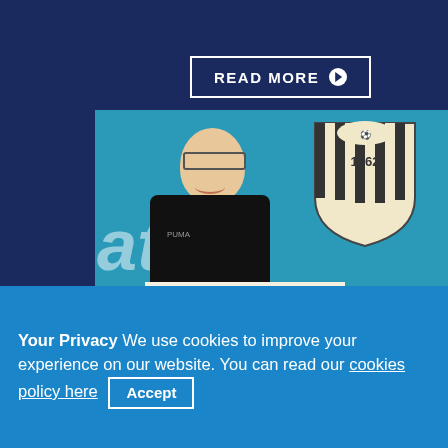READ MORE ▶
[Figure (photo): A man wearing a black Puma jacket holds a sign reading 'TOGETHER We are #Morethanfootball' in front of a teal background with the Notts County FC crest dated 1862.]
THEN ONE DAY: MORE THAN FOOTBALL
Your Privacy We use cookies to improve your experience on our website. You can read our cookies policy here  Accept